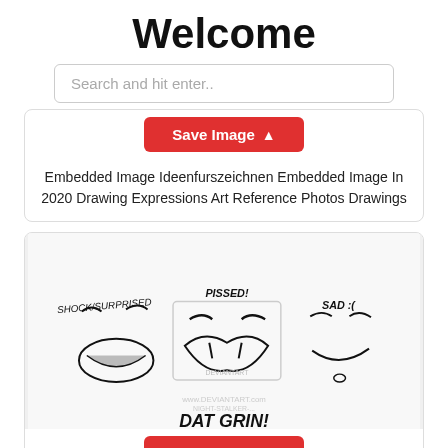Welcome
Search and hit enter..
Embedded Image Ideenfurszeichnen Embedded Image In 2020 Drawing Expressions Art Reference Photos Drawings
[Figure (illustration): Hand-drawn sketch of mouth expressions labeled: SHOCK/SURPRISED, PISSED!, SAD :(, DAT GRIN! with watermark 'DEVIANTART']
Always Need More Mouth References Drawing Expressions Mouth Drawing Drawing...